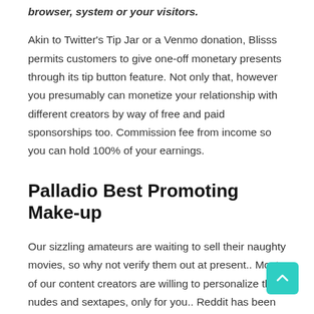browser, system or your visitors.
Akin to Twitter's Tip Jar or a Venmo donation, Blisss permits customers to give one-off monetary presents through its tip button feature. Not only that, however you presumably can monetize your relationship with different creators by way of free and paid sponsorships too. Commission fee from income so you can hold 100% of your earnings.
Palladio Best Promoting Make-up
Our sizzling amateurs are waiting to sell their naughty movies, so why not verify them out at present.. Most of our content creators are willing to personalize their nudes and sextapes, only for you.. Reddit has been my go to put for promoting cam ladies and by well-liked request I truly have decided to provide out my guide absolutely freed from price to all new fashions thinking about doing this work. I hardly ever do direct gross sales now consequently; I would only ever do that for a extra personal